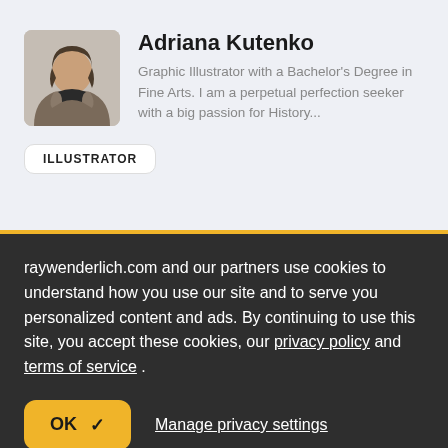[Figure (photo): Black and white headshot photo of Adriana Kutenko, a woman with long hair]
Adriana Kutenko
Graphic Illustrator with a Bachelor's Degree in Fine Arts. I am a perpetual perfection seeker with a big passion for History...
ILLUSTRATOR
raywenderlich.com and our partners use cookies to understand how you use our site and to serve you personalized content and ads. By continuing to use this site, you accept these cookies, our privacy policy and terms of service .
OK ✓
Manage privacy settings